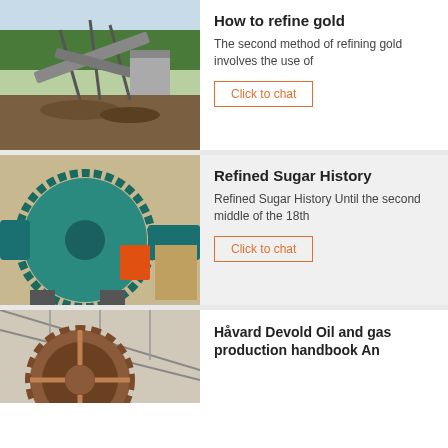[Figure (photo): Outdoor mining/crushing plant with conveyor belts and greenery in background]
How to refine gold
The second method of refining gold involves the use of
Click to chat
[Figure (photo): Large teal/green industrial ball mill machine indoors]
Refined Sugar History
Refined Sugar History Until the second middle of the 18th
Click to chat
[Figure (photo): Industrial gear wheel / machinery indoors with metal roof structure]
Håvard Devold Oil and gas production handbook An